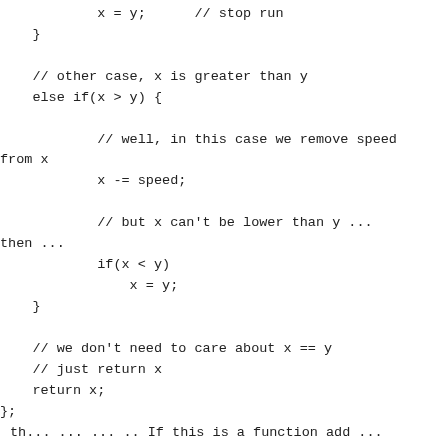( ... );
            x = y;      // stop run
    }

    // other case, x is greater than y
    else if(x > y) {

            // well, in this case we remove speed from x
            x -= speed;

            // but x can't be lower than y ... then ...
            if(x < y)
                x = y;
    }

    // we don't need to care about x == y
    // just return x
    return x;
};
th... ... ... .. If this is a function add ...